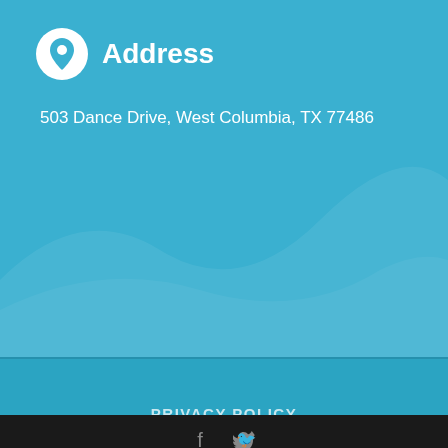Address
503 Dance Drive, West Columbia, TX 77486
PRIVACY POLICY
TERMS & CONDITIONS
© West Brazos Dental Center | Website by Im...